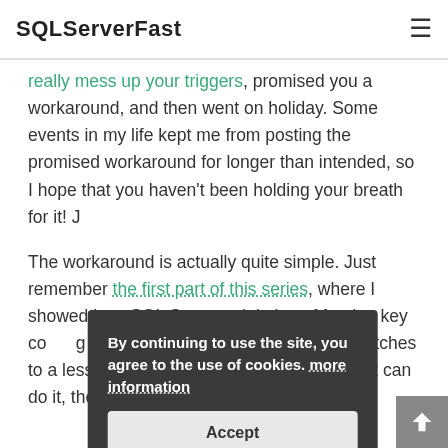SQLServerFast
really mess up your triggers, promised you a workaround, and then went on holiday. Some events in my life kept me from posting the promised workaround for longer than intended, so I hope that you haven't been holding your breath for it! J
The workaround is actually quite simple. Just remember the first part of this series, where I showed how SQL S… nts violation of foreign key co… g snapshot isolation – it auto… tly switches to a less concurrent is… Of course, if Microsoft can do it, then so can I!
By continuing to use the site, you agree to the use of cookies. more information
Accept